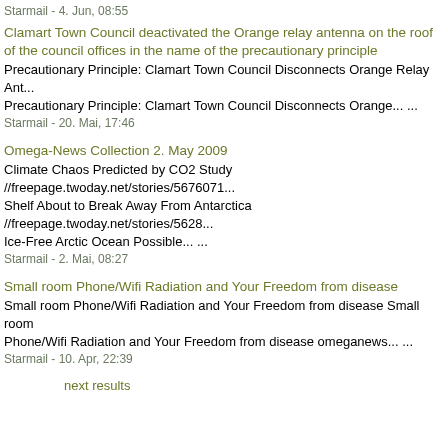Starmail - 4. Jun, 08:55
Clamart Town Council deactivated the Orange relay antenna on the roof of the council offices in the name of the precautionary principle
Precautionary Principle: Clamart Town Council Disconnects Orange Relay Ant... Precautionary Principle: Clamart Town Council Disconnects Orange... ...
Starmail - 20. Mai, 17:46
Omega-News Collection 2. May 2009
Climate Chaos Predicted by CO2 Study //freepage.twoday.net/stories/5676071... Shelf About to Break Away From Antarctica //freepage.twoday.net/stories/5628... Ice-Free Arctic Ocean Possible... ...
Starmail - 2. Mai, 08:27
Small room Phone/Wifi Radiation and Your Freedom from disease
Small room Phone/Wifi Radiation and Your Freedom from disease Small room Phone/Wifi Radiation and Your Freedom from disease omeganews... ...
Starmail - 10. Apr, 22:39
next results